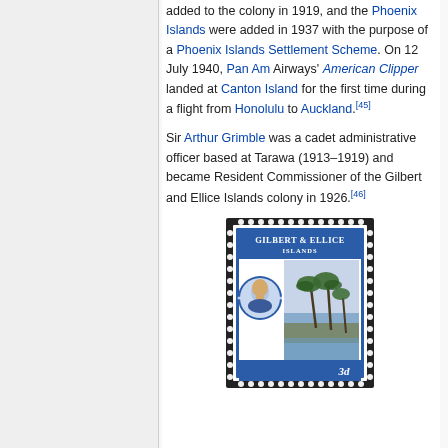...Christmas Island (Kiritimati), ... were added to the colony in 1919, and the Phoenix Islands were added in 1937 with the purpose of a Phoenix Islands Settlement Scheme. On 12 July 1940, Pan Am Airways' American Clipper landed at Canton Island for the first time during a flight from Honolulu to Auckland.[45]
Sir Arthur Grimble was a cadet administrative officer based at Tarawa (1913–1919) and became Resident Commissioner of the Gilbert and Ellice Islands colony in 1926.[46]
[Figure (illustration): A postage stamp of Gilbert & Ellice Islands showing King George VI portrait on the left and a tropical island scene with palm trees on the right, denominated 3d, blue and black colors.]